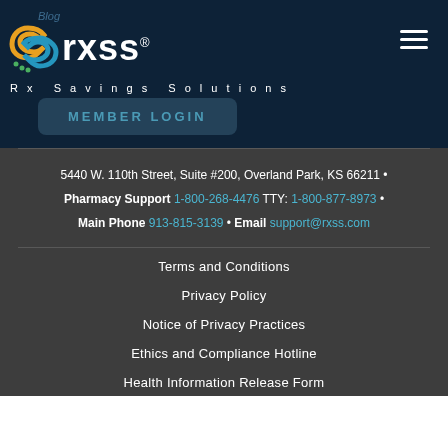[Figure (logo): RXSS Rx Savings Solutions logo with colorful chain-link icon on dark navy background, with Blog text and Member Login button and hamburger menu]
5440 W. 110th Street, Suite #200, Overland Park, KS 66211 • Pharmacy Support 1-800-268-4476 TTY: 1-800-877-8973 • Main Phone 913-815-3139 • Email support@rxss.com
Terms and Conditions
Privacy Policy
Notice of Privacy Practices
Ethics and Compliance Hotline
Health Information Release Form